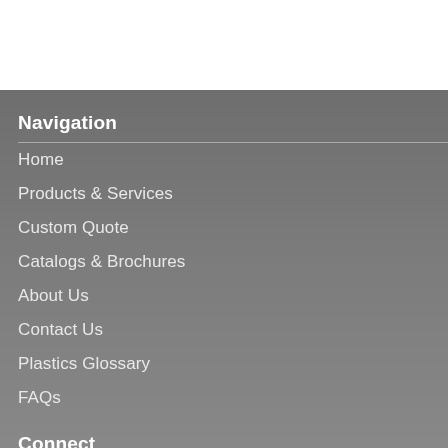Navigation
Home
Products & Services
Custom Quote
Catalogs & Brochures
About Us
Contact Us
Plastics Glossary
FAQs
Connect
Follow us on Twitter